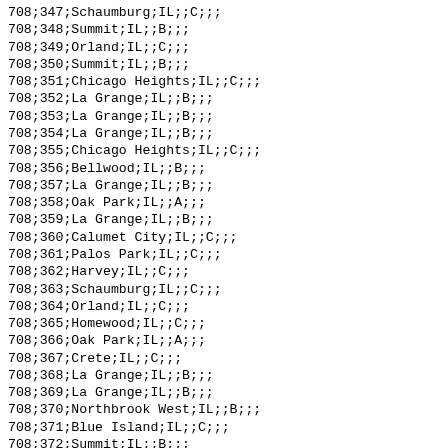| 708;347;Schaumburg;IL;;C;;; |
| 708;348;Summit;IL;;B;;; |
| 708;349;Orland;IL;;C;;; |
| 708;350;Summit;IL;;B;;; |
| 708;351;Chicago Heights;IL;;C;;; |
| 708;352;La Grange;IL;;B;;; |
| 708;353;La Grange;IL;;B;;; |
| 708;354;La Grange;IL;;B;;; |
| 708;355;Chicago Heights;IL;;C;;; |
| 708;356;Bellwood;IL;;B;;; |
| 708;357;La Grange;IL;;B;;; |
| 708;358;Oak Park;IL;;A;;; |
| 708;359;La Grange;IL;;B;;; |
| 708;360;Calumet City;IL;;C;;; |
| 708;361;Palos Park;IL;;C;;; |
| 708;362;Harvey;IL;;C;;; |
| 708;363;Schaumburg;IL;;C;;; |
| 708;364;Orland;IL;;C;;; |
| 708;365;Homewood;IL;;C;;; |
| 708;366;Oak Park;IL;;A;;; |
| 708;367;Crete;IL;;C;;; |
| 708;368;La Grange;IL;;B;;; |
| 708;369;La Grange;IL;;B;;; |
| 708;370;Northbrook West;IL;;B;;; |
| 708;371;Blue Island;IL;;C;;; |
| 708;372;Summit;IL;;B;;; |
| 708;373;Schaumburg;IL;;C;;; |
| 708;374;Chicago Heights;IL;;C;;; |
| 708;375;Hillside;IL;;B;;; |
| 708;376;Northbrook;IL;;B;;; |
| 708;377;... |